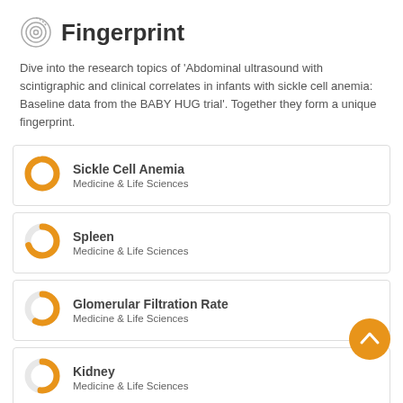Fingerprint
Dive into the research topics of 'Abdominal ultrasound with scintigraphic and clinical correlates in infants with sickle cell anemia: Baseline data from the BABY HUG trial'. Together they form a unique fingerprint.
Sickle Cell Anemia — Medicine & Life Sciences
Spleen — Medicine & Life Sciences
Glomerular Filtration Rate — Medicine & Life Sciences
Kidney — Medicine & Life Sciences
Common Bile Duct — (partial)